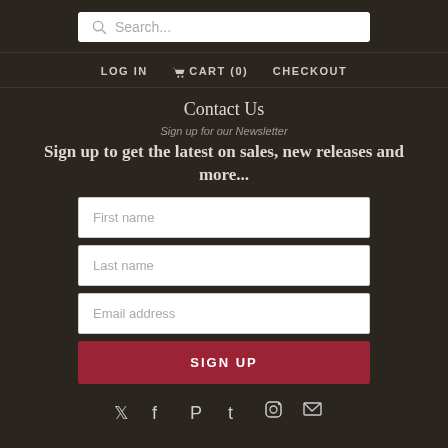Search...
LOG IN  CART (0)  CHECKOUT
Contact Us
Sign up for our Newsletter
Sign up to get the latest on sales, new releases and more...
First name
Last name
Email address
SIGN UP
[Figure (infographic): Social media icons: Twitter, Facebook, Pinterest, Tumblr, Instagram, Email]